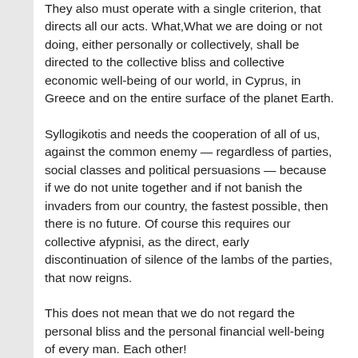They also must operate with a single criterion, that directs all our acts. What,What we are doing or not doing, either personally or collectively, shall be directed to the collective bliss and collective economic well-being of our world, in Cyprus, in Greece and on the entire surface of the planet Earth.
Syllogikotis and needs the cooperation of all of us, against the common enemy — regardless of parties, social classes and political persuasions — because if we do not unite together and if not banish the invaders from our country, the fastest possible, then there is no future. Of course this requires our collective afypnisi, as the direct, early discontinuation of silence of the lambs of the parties, that now reigns.
This does not mean that we do not regard the personal bliss and the personal financial well-being of every man. Each other!
But the collective Bliss involves personal bliss, While the inverse is not true, at least on this planet. The same goes with...